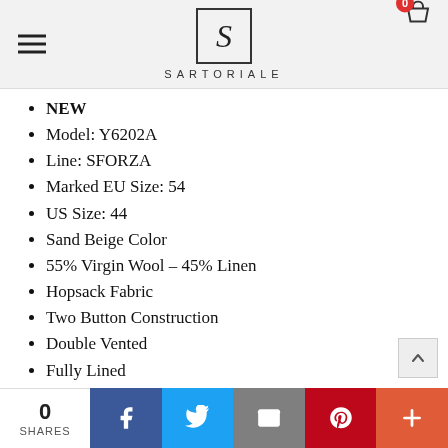SARTORIALE
NEW
Model: Y6202A
Line: SFORZA
Marked EU Size: 54
US Size: 44
Sand Beige Color
55% Virgin Wool – 45% Linen
Hopsack Fabric
Two Button Construction
Double Vented
Fully Lined
Non-Working Sleeve Buttonholes
0 SHARES